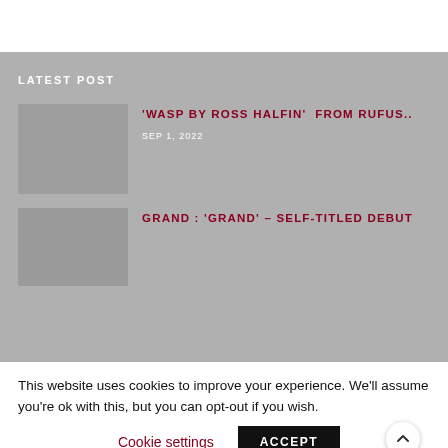LATEST POST
'WASP BY ROSS HALFIN'  FROM RUFUS..
SEP 1, 2022
GRAND : 'GRAND' – SELF-TITLED DEBUT
This website uses cookies to improve your experience. We'll assume you're ok with this, but you can opt-out if you wish.
Cookie settings
ACCEPT